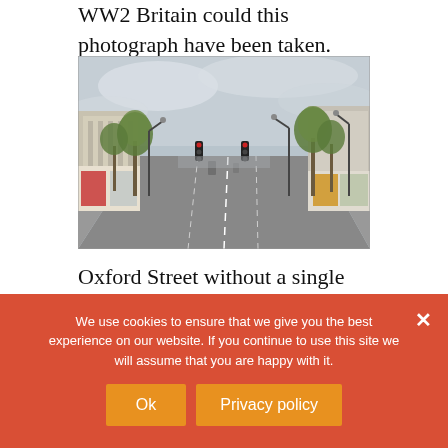WW2 Britain could this photograph have been taken.
[Figure (photo): Empty Oxford Street with no vehicles, showing the wide road, trees lining both sides, shops and buildings, traffic lights, and an overcast sky.]
Oxford Street without a single vehicle in sight … on a weekday
We use cookies to ensure that we give you the best experience on our website. If you continue to use this site we will assume that you are happy with it.